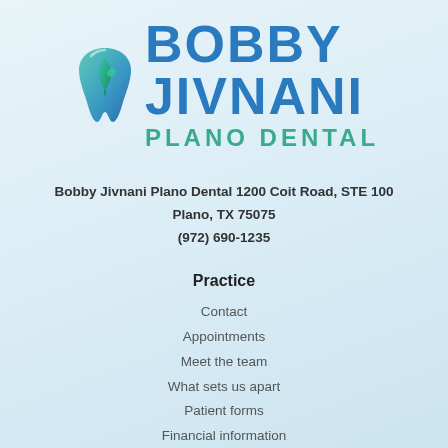[Figure (logo): Bobby Jivnani Plano Dental logo with teal/blue tooth icon and stylized text BOBBY JIVNANI in blue and PLANO DENTAL in teal]
Bobby Jivnani Plano Dental 1200 Coit Road, STE 100
Plano, TX 75075
(972) 690-1235
Practice
Contact
Appointments
Meet the team
What sets us apart
Patient forms
Financial information